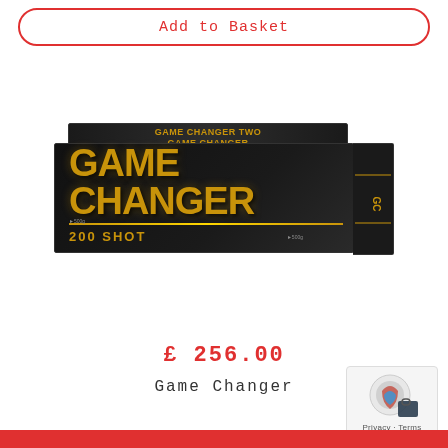Add to Basket
[Figure (photo): Black rectangular fireworks box labeled 'GAME CHANGER 200 SHOT' with gold metallic lettering on a dark background]
£ 256.00
Game Changer